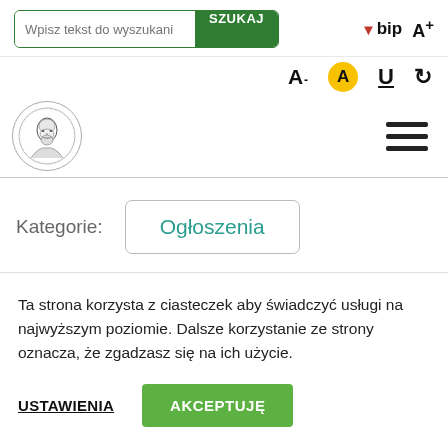Wpisz tekst do wyszukania | SZUKAJ | bip | A+
[Figure (logo): Circular institutional logo with portrait illustration]
Kategorie: Ogłoszenia
Ta strona korzysta z ciasteczek aby świadczyć usługi na najwyższym poziomie. Dalsze korzystanie ze strony oznacza, że zgadzasz się na ich użycie.
USTAWIENIA | AKCEPTUJĘ